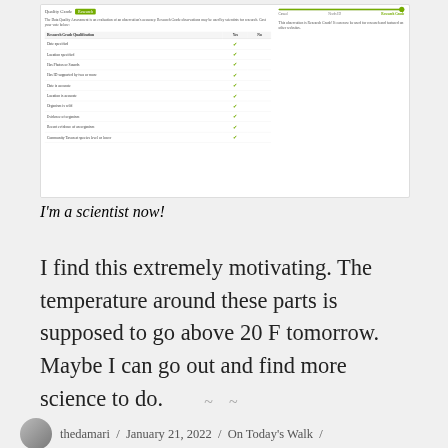[Figure (screenshot): Screenshot of iNaturalist Data Quality Assessment showing Research Grade badge, a table of Research Grade Qualifications all checked Yes, and a slider showing Research Grade status with message 'This observation is Research Grade! It can now be used for research and featured on other websites.']
I'm a scientist now!
I find this extremely motivating. The temperature around these parts is supposed to go above 20 F tomorrow. Maybe I can go out and find more science to do.
~ ~
thedamari / January 21, 2022 / On Today's Walk /